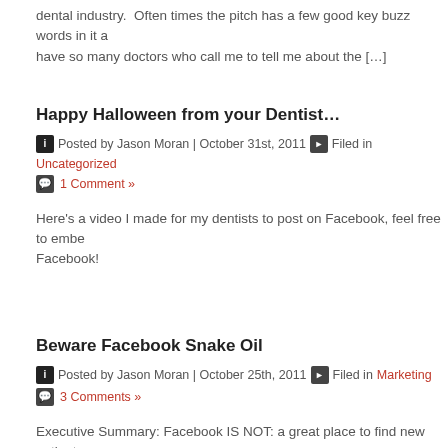dental industry. Often times the pitch has a few good key buzz words in it a... have so many doctors who call me to tell me about the […]
Happy Halloween from your Dentist…
Posted by Jason Moran | October 31st, 2011  Filed in Uncategorized
1 Comment »
Here's a video I made for my dentists to post on Facebook, feel free to embe... Facebook!
Beware Facebook Snake Oil
Posted by Jason Moran | October 25th, 2011  Filed in Marketing
3 Comments »
Executive Summary: Facebook IS NOT: a great place to find new patients.